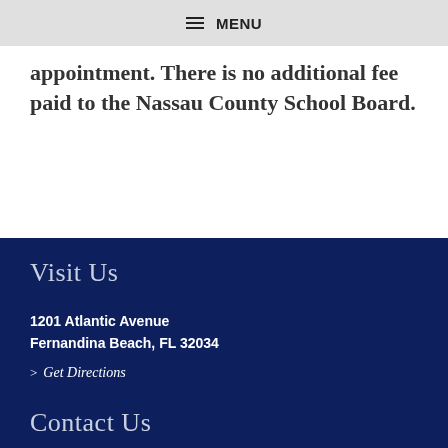≡ MENU
appointment. There is no additional fee paid to the Nassau County School Board.
Visit Us
1201 Atlantic Avenue
Fernandina Beach, FL 32034
> Get Directions
Contact Us